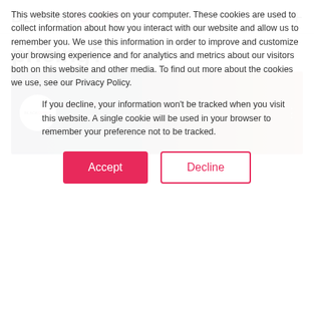BLACKCURVE
pricing?
[Figure (screenshot): Video thumbnail for 'eCommerce Matters - Who Can B...' by BLACKCURVE channel, showing a person and the BlackCurve logo overlay.]
This website stores cookies on your computer. These cookies are used to collect information about how you interact with our website and allow us to remember you. We use this information in order to improve and customize your browsing experience and for analytics and metrics about our visitors both on this website and other media. To find out more about the cookies we use, see our Privacy Policy.
If you decline, your information won't be tracked when you visit this website. A single cookie will be used in your browser to remember your preference not to be tracked.